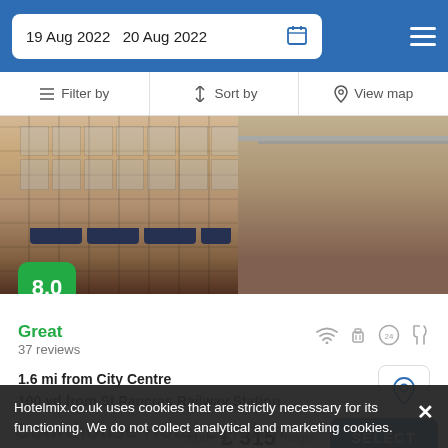19 Aug 2022  20 Aug 2022
Filter by  |  Sort by  |  View map
[Figure (photo): Hotel building exterior — stone facade with dark awnings and glass canopy entrance]
8.0
Great
37 reviews
1.6 mi from City Centre
100 yd from St Pancras Railway Station
Perfectly located right next to King's College London, the hotel has luxury rooms to offer as well as a sandwich bar.
from £ 315/night  SELECT
Hotelmix.co.uk uses cookies that are strictly necessary for its functioning. We do not collect analytical and marketing cookies.
Courthouse Hotel London